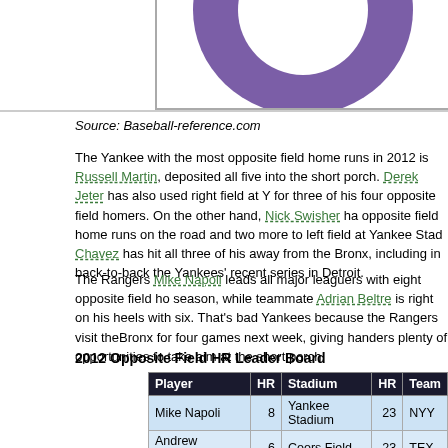[Figure (pie-chart): Partial pie chart visible at top of page, purple slice labeled 17%]
Source: Baseball-reference.com
The Yankee with the most opposite field home runs in 2012 is Russell Martin, deposited all five into the short porch. Derek Jeter has also used right field at Y for three of his four opposite field homers. On the other hand, Nick Swisher ha opposite field home runs on the road and two more to left field at Yankee Stad Chavez has hit all three of his away from the Bronx, including in back-to-back the Yankees' recent series in Detroit.
The Rangers Mike Napoli leads all major leaguers with eight opposite field ho season, while teammate Adrian Beltre is right on his heels with six. That's bad Yankees because the Rangers visit theBronx for four games next week, giving handers plenty of opportunities to take aim at the short porch.
2012 Opposite Field HR Leader Board
| Player | HR | Stadium | HR | Team |
| --- | --- | --- | --- | --- |
| Mike Napoli | 8 | Yankee Stadium | 23 | NYY |
| Andrew McCutchen | 6 | Coors Field | 23 | TEX |
| Adrian Beltre | 6 | Comerica Park | 18 | DET |
| Hunter Pence | 5 | Rangers Ballpark | 17 | PIT |
| Russell Martin | 5 | Miller Park | 13 | COL |